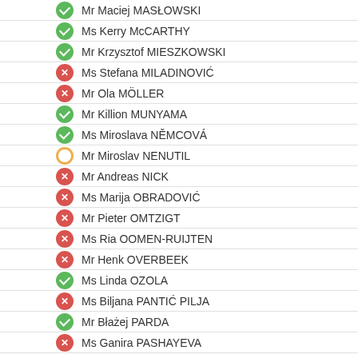Mr Maciej MASŁOWSKI
Ms Kerry McCARTHY
Mr Krzysztof MIESZKOWSKI
Ms Stefana MILADINOVIĆ
Mr Ola MÖLLER
Mr Killion MUNYAMA
Ms Miroslava NĚMCOVÁ
Mr Miroslav NENUTIL
Mr Andreas NICK
Ms Marija OBRADOVIĆ
Mr Pieter OMTZIGT
Ms Ria OOMEN-RUIJTEN
Mr Henk OVERBEEK
Ms Linda OZOLA
Ms Biljana PANTIĆ PILJA
Mr Błażej PARDA
Ms Ganira PASHAYEVA